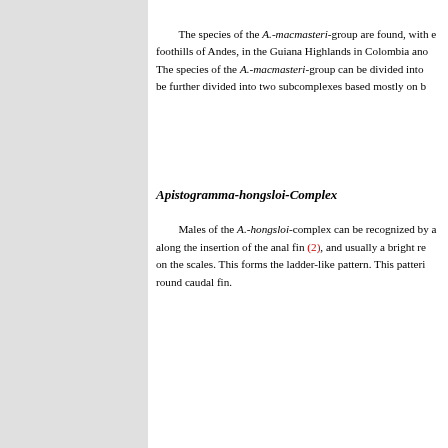The species of the A.-macmasteri-group are found, with the foothills of Andes, in the Guiana Highlands in Colombia and The species of the A.-macmasteri-group can be divided into be further divided into two subcomplexes based mostly on b
Apistogramma-hongsloi-Complex
Males of the A.-hongsloi-complex can be recognized by a along the insertion of the anal fin (2), and usually a bright re on the scales. This forms the ladder-like pattern. This pattern round caudal fin.
At present there are two scientifically described and at le All known forms in the complex, except for one possible for Río Mac from Colombia, the one of the Río Mac tt